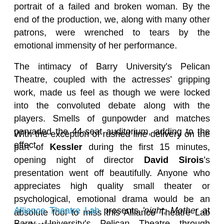portrait of a failed and broken woman. By the end of the production, we, along with many other patrons, were wrenched to tears by the emotional immensity of her performance.
The intimacy of Barry University's Pelican Theatre, coupled with the actresses' gripping work, made us feel as though we were locked into the convoluted debate along with the players. Smells of gunpowder and matches pervaded the 44-seat auditorium, adding to the effect.
With the exception of rushed line delivery on the part of Kessler during the first 15 minutes, opening night of director David Sirois's presentation went off beautifully. Anyone who appreciates high quality small theater or psychological, emotional drama would be an absolute fool to miss this Alliance Theatre Lab production.
Alliance Theatre Lab presents 'night, Mother at Barry University's Pelican Theatre through September 25, 2011.